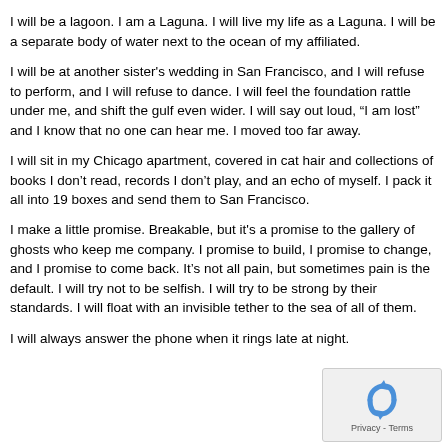Francisco, but it will be different.
I will be a lagoon. I am a Laguna. I will live my life as a Laguna. I will be a separate body of water next to the ocean of my affiliated.
I will be at another sister's wedding in San Francisco, and I will refuse to perform, and I will refuse to dance. I will feel the foundation rattle under me, and shift the gulf even wider. I will say out loud, “I am lost” and I know that no one can hear me. I moved too far away.
I will sit in my Chicago apartment, covered in cat hair and collections of books I don’t read, records I don’t play, and an echo of myself. I pack it all into 19 boxes and send them to San Francisco.
I make a little promise. Breakable, but it's a promise to the gallery of ghosts who keep me company. I promise to build, I promise to change, and I promise to come back. It’s not all pain, but sometimes pain is the default. I will try not to be selfish. I will try to be strong by their standards. I will float with an invisible tether to the sea of all of them.
I will always answer the phone when it rings late at night.